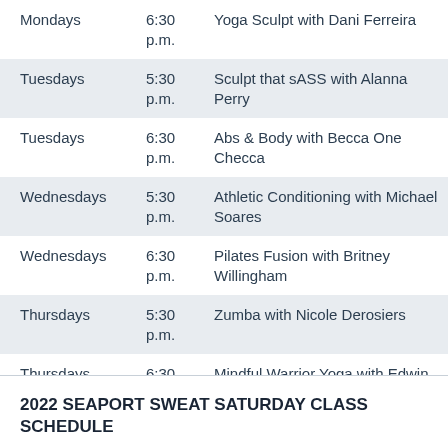| Day | Time | Class |
| --- | --- | --- |
| Mondays | 6:30 p.m. | Yoga Sculpt with Dani Ferreira |
| Tuesdays | 5:30 p.m. | Sculpt that sASS with Alanna Perry |
| Tuesdays | 6:30 p.m. | Abs & Body with Becca One Checca |
| Wednesdays | 5:30 p.m. | Athletic Conditioning with Michael Soares |
| Wednesdays | 6:30 p.m. | Pilates Fusion with Britney Willingham |
| Thursdays | 5:30 p.m. | Zumba with Nicole Derosiers |
| Thursdays | 6:30 p.m. | Mindful Warrior Yoga with Edwin Frias |
2022 SEAPORT SWEAT SATURDAY CLASS SCHEDULE